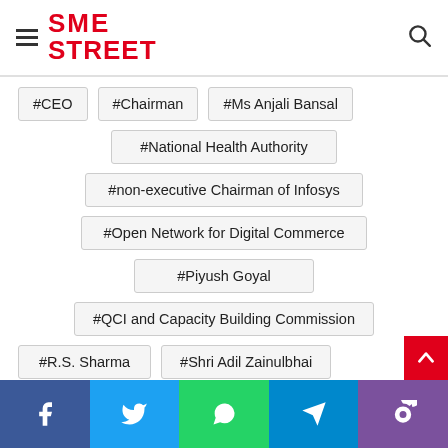SME STREET
#CEO
#Chairman
#Ms Anjali Bansal
#National Health Authority
#non-executive Chairman of Infosys
#Open Network for Digital Commerce
#Piyush Goyal
#QCI and Capacity Building Commission
#R.S. Sharma
#Shri Adil Zainulbhai